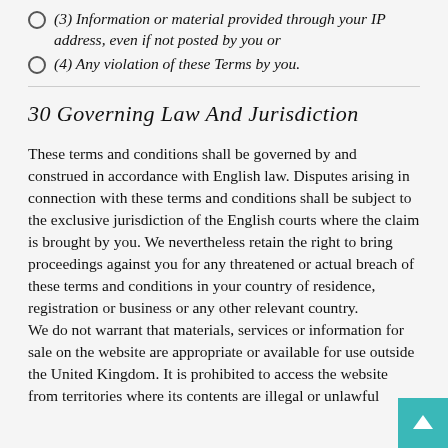(3) Information or material provided through your IP address, even if not posted by you or
(4) Any violation of these Terms by you.
30 Governing Law And Jurisdiction
These terms and conditions shall be governed by and construed in accordance with English law. Disputes arising in connection with these terms and conditions shall be subject to the exclusive jurisdiction of the English courts where the claim is brought by you. We nevertheless retain the right to bring proceedings against you for any threatened or actual breach of these terms and conditions in your country of residence, registration or business or any other relevant country.
We do not warrant that materials, services or information for sale on the website are appropriate or available for use outside the United Kingdom. It is prohibited to access the website from territories where its contents are illegal or unlawful